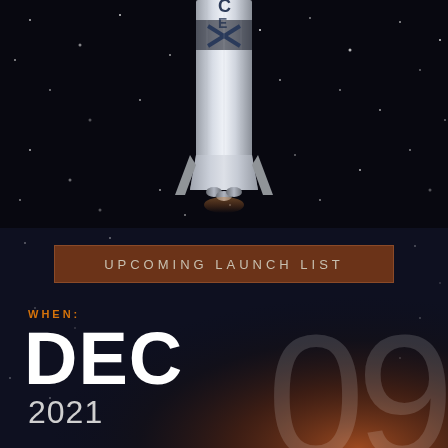[Figure (photo): SpaceX Falcon 9 rocket on dark starry background, silver rocket with SpaceX logo ascending, view from above showing rocket body and engine nozzles]
UPCOMING LAUNCH LIST
WHEN:
DEC 2021 09